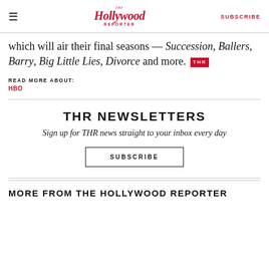The Hollywood Reporter — SUBSCRIBE
which will air their final seasons — Succession, Ballers, Barry, Big Little Lies, Divorce and more. THR
READ MORE ABOUT: HBO
THR NEWSLETTERS Sign up for THR news straight to your inbox every day SUBSCRIBE
MORE FROM THE HOLLYWOOD REPORTER